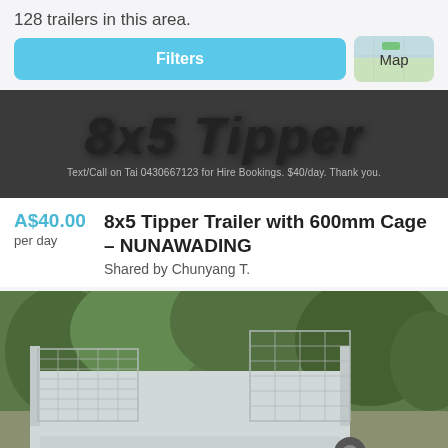128 trailers in this area.
Filters
Map
[Figure (photo): Dark grey background with large bold italic text '8x5 Tipper' and a subtext line: 'Text/Call on Tai 0430667123 for Hire Bookings. $40/day. Thank you.']
A$40.00
per day
8x5 Tipper Trailer with 600mm Cage – NUNAWADING
Shared by Chunyang T.
[Figure (photo): Photo of a galvanised metal trailer with mesh cage sides, parked outdoors with green trees and shrubs in the background.]